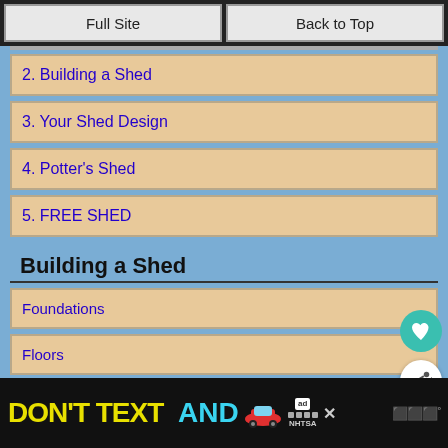Full Site | Back to Top
2. Building a Shed
3. Your Shed Design
4. Potter's Shed
5. FREE SHED
Building a Shed
Foundations
Floors
Roofs
Roof Coverings
Windows
[Figure (screenshot): What's Next panel showing Shed Art]
[Figure (infographic): DON'T TEXT AND drive ad banner with car emoji, ad badge, NHTSA logo]